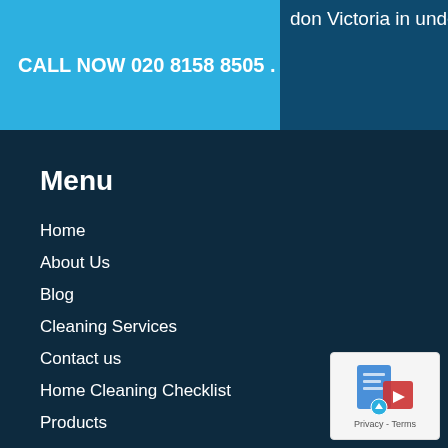don Victoria in under 20
CALL NOW 020 8158 8505 .
Menu
Home
About Us
Blog
Cleaning Services
Contact us
Home Cleaning Checklist
Products
Links to Other Useful Services
[Figure (logo): Privacy/Terms badge with blue document icon and text 'Privacy - Terms']